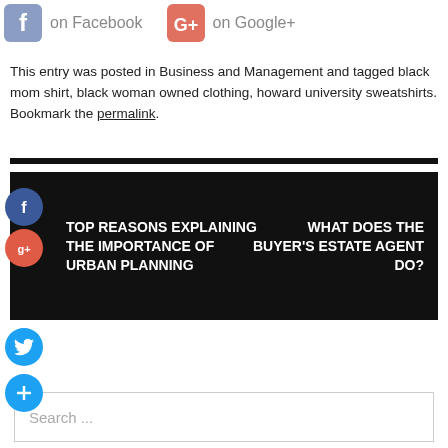[Figure (logo): Facebook and Google+ share icons with 'on Facebook' and 'on Google+' text]
This entry was posted in Business and Management and tagged black mom shirt, black woman owned clothing, howard university sweatshirts. Bookmark the permalink.
[Figure (infographic): Black navigation block with two links: 'TOP REASONS EXPLAINING THE IMPORTANCE OF URBAN PLANNING' on the left and 'WHAT DOES THE BUYER'S ESTATE AGENT DO?' on the right, with floating social icons (Facebook, Google+, Twitter, Add) on the left side]
[Figure (other): Search input box with placeholder text 'Search ...']